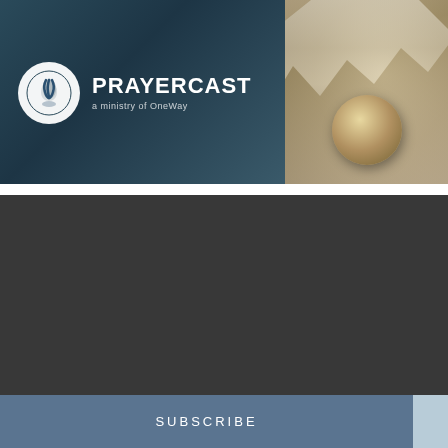[Figure (logo): Prayercast logo banner — teal/dark blue background on left with circular logo and text 'PRAYERCAST a ministry of OneWay', decorative draped fabric and golden sphere on right]
[Figure (photo): Dark gray/charcoal video player area]
Get the latest news directly to your inbox
SUBSCRIBE